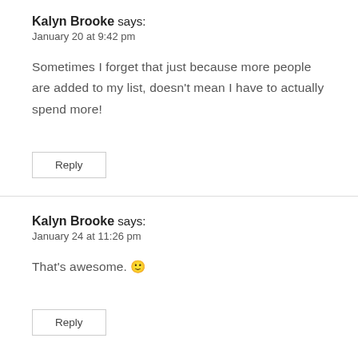Kalyn Brooke says:
January 20 at 9:42 pm
Sometimes I forget that just because more people are added to my list, doesn't mean I have to actually spend more!
Reply
Kalyn Brooke says:
January 24 at 11:26 pm
That's awesome. 🙂
Reply